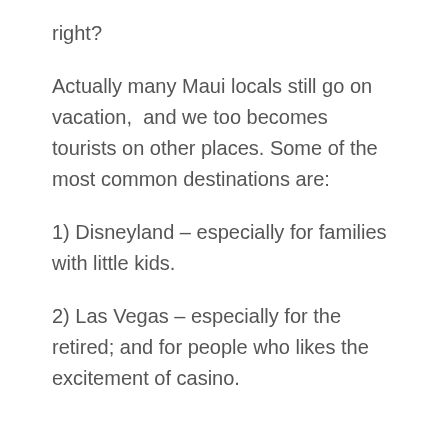right?
Actually many Maui locals still go on vacation,  and we too becomes tourists on other places. Some of the most common destinations are:
1) Disneyland – especially for families with little kids.
2) Las Vegas – especially for the retired; and for people who likes the excitement of casino.